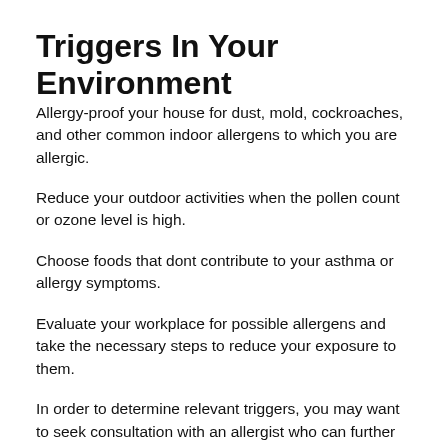Triggers In Your Environment
Allergy-proof your house for dust, mold, cockroaches, and other common indoor allergens to which you are allergic.
Reduce your outdoor activities when the pollen count or ozone level is high.
Choose foods that dont contribute to your asthma or allergy symptoms.
Evaluate your workplace for possible allergens and take the necessary steps to reduce your exposure to them.
In order to determine relevant triggers, you may want to seek consultation with an allergist who can further define these triggers.